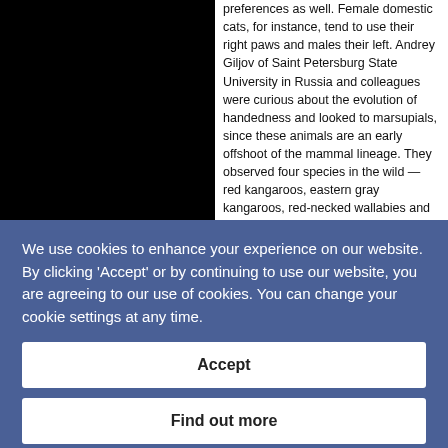[Figure (photo): Black rectangular image on the left side of the top section]
preferences as well. Female domestic cats, for instance, tend to use their right paws and males their left. Andrey Giljov of Saint Petersburg State University in Russia and colleagues were curious about the evolution of handedness and looked to marsupials, since these animals are an early offshoot of the mammal lineage. They observed four species in the wild — red kangaroos, eastern gray kangaroos, red-necked wallabies and Goodfellow's tree kangaroos — performing tasks such as grooming and feeding. © Society
We use cookies to enhance your experience on our website. By clicking 'Accept' or by continuing to use our website, you are agreeing to our use of cookies. You can change your cookie settings at any time.
Accept
Find out more